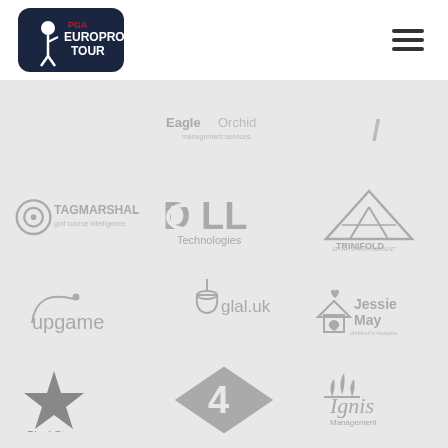[Figure (logo): PGA EuroPro Tour logo - dark navy rounded rectangle with golfer silhouette and red/white text]
[Figure (logo): Hamburger menu icon - three horizontal dark bars]
[Figure (logo): Eagle Orchid Management Services logo - partially visible at top]
[Figure (logo): Tagmarshal golf course intelligence logo - grey circle target icon with text]
[Figure (logo): Dell Technologies logo - grey]
[Figure (logo): Trinifold Sports Management logo - grey triangle shape]
[Figure (logo): Upgame logo - grey arc and dot with text]
[Figure (logo): glal.uk logo - grey pendant lamp icon with text]
[Figure (logo): Jessie May children's hospice logo - grey house and heart icon]
[Figure (logo): BlackStar logo - grey star with text]
[Figure (logo): 4 (Abbie Dodd Cancer) logo - grey diamond with number 4]
[Figure (logo): Ignis Management logo - grey candle flames with text]